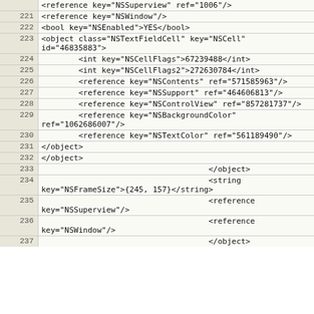Code listing lines 221-237 showing XML/NIB file content with NSTextFieldCell, NSCellFlags, NSContents, NSSupport, NSControlView, NSBackgroundColor, NSTextColor references and object tags
| Line | Code |
| --- | --- |
|  | <reference key="NSSuperview" ref="1006"/> |
| 221 | <reference key="NSWindow"/> |
| 222 | <bool key="NSEnabled">YES</bool> |
| 223 | <object class="NSTextFieldCell" key="NSCell"
id="46835883"> |
| 224 |         <int key="NSCellFlags">67239488</int> |
| 225 |         <int key="NSCellFlags2">272630784</int> |
| 226 |         <reference key="NSContents" ref="571585963"/> |
| 227 |         <reference key="NSSupport" ref="464606813"/> |
| 228 |         <reference key="NSControlView" ref="857281737"/> |
| 229 |         <reference key="NSBackgroundColor"
ref="1062686007"/> |
| 230 |         <reference key="NSTextColor" ref="561189490"/> |
| 231 | </object> |
| 232 | </object> |
| 233 |                                     </object> |
| 234 |                                     <string
key="NSFrameSize">{245, 157}</string> |
| 235 |                                     <reference
key="NSSuperview"/> |
| 236 |                                     <reference
key="NSWindow"/> |
| 237 |                                     </object> |